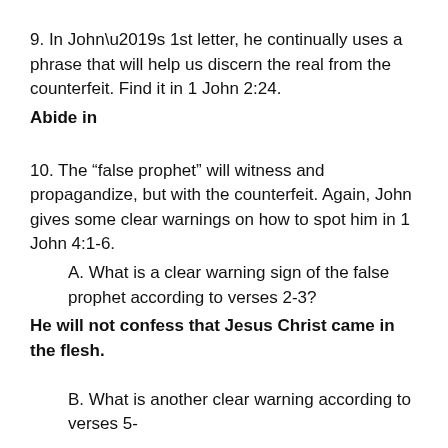9. In John’s 1st letter, he continually uses a phrase that will help us discern the real from the counterfeit. Find it in 1 John 2:24.
Abide in
10. The “false prophet” will witness and propagandize, but with the counterfeit. Again, John gives some clear warnings on how to spot him in 1 John 4:1-6.
A. What is a clear warning sign of the false prophet according to verses 2-3?
He will not confess that Jesus Christ came in the flesh.
B. What is another clear warning according to verses 5-